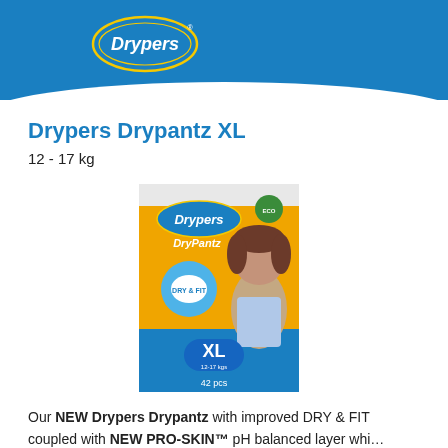[Figure (logo): Drypers brand logo — white text on blue oval leaf shape]
Drypers Drypantz XL
12 - 17 kg
[Figure (photo): Drypers Drypantz XL diaper package — orange and blue packaging with a toddler girl on the front, showing XL size label]
Our NEW Drypers Drypantz with improved DRY & FIT coupled with NEW PRO-SKIN™ pH balanced layer whi… protects baby from skin irritation. What's more? It is EC…